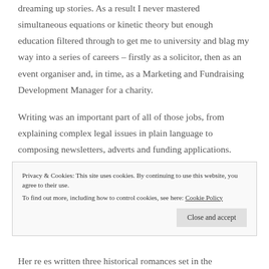dreaming up stories. As a result I never mastered simultaneous equations or kinetic theory but enough education filtered through to get me to university and blag my way into a series of careers – firstly as a solicitor, then as an event organiser and, in time, as a Marketing and Fundraising Development Manager for a charity.
Writing was an important part of all of those jobs, from explaining complex legal issues in plain language to composing newsletters, adverts and funding applications. However, much as I enjoyed those creative
Privacy & Cookies: This site uses cookies. By continuing to use this website, you agree to their use. To find out more, including how to control cookies, see here: Cookie Policy
Her re es written three historical romances set in the